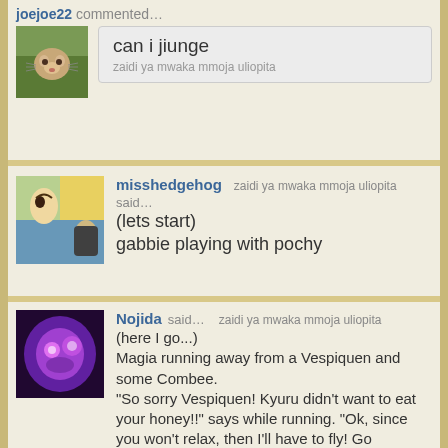joejoe22 commented…
can i jiunge
zaidi ya mwaka mmoja uliopita
[Figure (photo): Small cat avatar thumbnail for joejoe22]
misshedgehog zaidi ya mwaka mmoja uliopita said… (lets start) gabbie playing with pochy
[Figure (illustration): Anime-style avatar for misshedgehog]
Nojida said… zaidi ya mwaka mmoja uliopita (here I go...) Magia running away from a Vespiquen and some Combee. "So sorry Vespiquen! Kyuru didn't want to eat your honey!!" says while running. "Ok, since you won't relax, then I'll have to fly! Go Hydragon!!" Magia throws Hydragon's Poke Ball into the air and flies on him. Then the Vespiguen uses String Shot and traps them. "Oh, no! The timing to call out was bad!" Magia says while falling on the ground. "Hydragon, use Tri Attack to cut off the strings!!" (did I spell that right?!). Hydragon uses Tri Attack and the strings
[Figure (illustration): Purple fantasy avatar for Nojida]